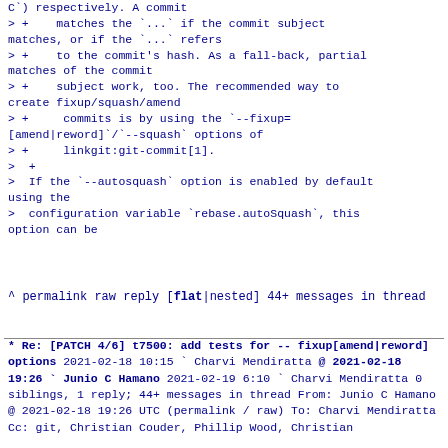C`) respectively. A commit
> +    matches the `...` if the commit subject matches, or if the `...` refers
> +    to the commit's hash. As a fall-back, partial matches of the commit
> +    subject work, too. The recommended way to create fixup/squash/amend
> +     commits is by using the `--fixup=[amend|reword]`/`--squash` options of
> +     linkgit:git-commit[1].
>  +
>  If the `--autosquash` option is enabled by default using the
>  configuration variable `rebase.autoSquash`, this option can be
^ permalink raw reply   [flat|nested] 44+ messages in thread
* Re: [PATCH 4/6] t7500: add tests for --fixup[amend|reword] options
  2021-02-18 10:15        ` Charvi Mendiratta
@ 2021-02-18 19:26        ` Junio C Hamano
  2021-02-19  6:10          ` Charvi Mendiratta
  0 siblings, 1 reply; 44+ messages in thread
From: Junio C Hamano @ 2021-02-18 19:26 UTC (permalink / raw)
  To: Charvi Mendiratta
  Cc: git, Christian Couder, Phillip Wood, Christian